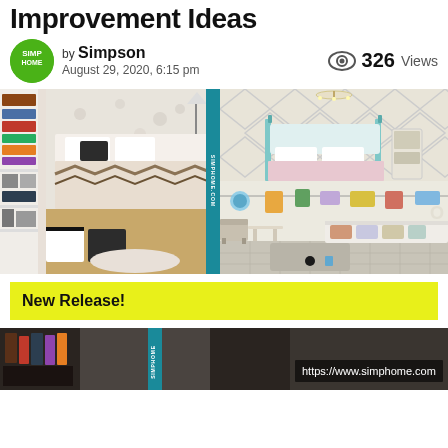Improvement Ideas
by Simpson August 29, 2020, 6:15 pm
326 Views
[Figure (photo): Three bedroom interior photos: left - styled bedroom with bookshelf divider and black/white bedding; top right - elegant bedroom with diamond pattern wall and teal four-poster bed; bottom right - playful children's room with foam tile floor and seating area]
New Release!
[Figure (photo): Bottom banner photo of interior space with URL https://www.simphome.com watermark]